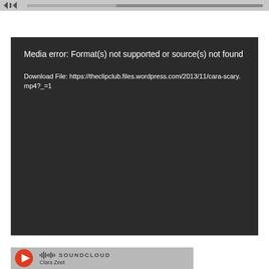[Figure (screenshot): Video player top bar with playback controls and progress bar, partially visible at top of page]
[Figure (screenshot): Dark video player error box showing: 'Media error: Format(s) not supported or source(s) not found' and 'Download File: https://theclipclub.files.wordpress.com/2013/11/cara-scary.mp4?_=1']
[Figure (screenshot): SoundCloud widget showing play button, SoundCloud logo with soundwave icon, and artist name 'Clara Zeet' partially visible]